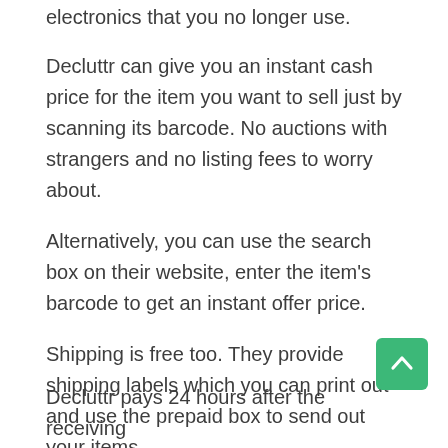electronics that you no longer use.
Decluttr can give you an instant cash price for the item you want to sell just by scanning its barcode. No auctions with strangers and no listing fees to worry about.
Alternatively, you can use the search box on their website, enter the item's barcode to get an instant offer price.
Shipping is free too. They provide shipping labels which you can print out and use the prepaid box to send out your items.
Decluttr pays 24 hours after the receiving...